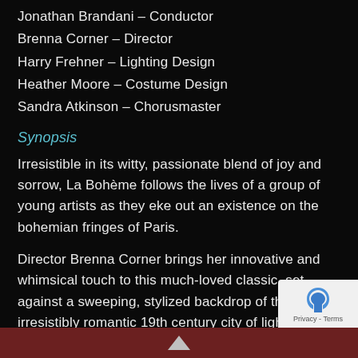Jonathan Brandani – Conductor
Brenna Corner – Director
Harry Frehner – Lighting Design
Heather Moore – Costume Design
Sandra Atkinson – Chorusmaster
Synopsis
Irresistible in its witty, passionate blend of joy and sorrow, La Bohème follows the lives of a group of young artists as they eke out an existence on the bohemian fringes of Paris.
Director Brenna Corner brings her innovative and whimsical touch to this much-loved classic, set against a sweeping, stylized backdrop of the irresistibly romantic 19th century city of lights.
With Puccini's wonderful music and a love story that has resonated through the ages La Bohème remains one of the best-loved operas of all time.